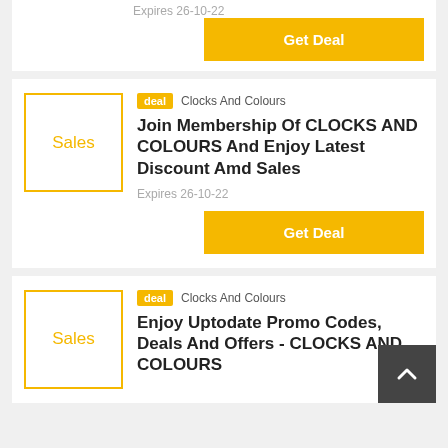Expires 26-10-22
Get Deal
deal  Clocks And Colours
Join Membership Of CLOCKS AND COLOURS And Enjoy Latest Discount Amd Sales
Expires 26-10-22
Get Deal
deal  Clocks And Colours
Enjoy Uptodate Promo Codes, Deals And Offers - CLOCKS AND COLOURS